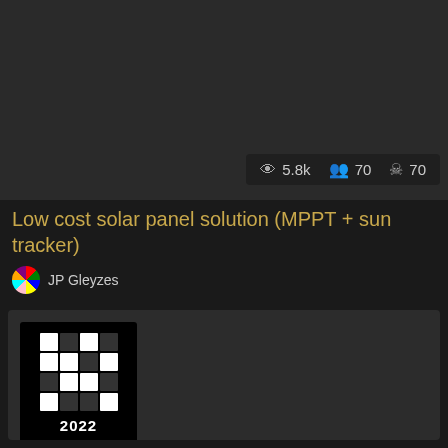[Figure (screenshot): Dark background area representing a project thumbnail/preview image]
👁 5.8k  👥 70  ☠ 70
Low cost solar panel solution (MPPT + sun tracker)
JP Gleyzes
[Figure (logo): Hackaday 2022 badge logo with pixel grid pattern and year 2022]